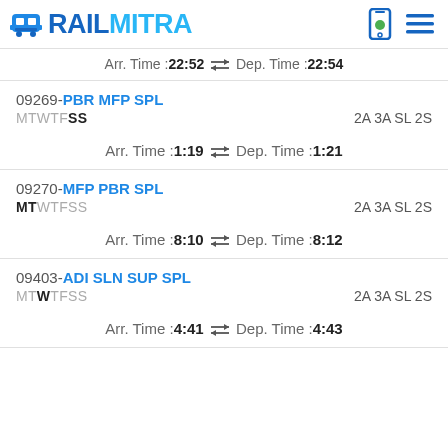RAILMITRA
Arr. Time :22:52  ⇄ Dep. Time :22:54
09269-PBR MFP SPL | MTWTFSS | 2A 3A SL 2S | Arr. Time :1:19 ⇄ Dep. Time :1:21
09270-MFP PBR SPL | MTWTFSS | 2A 3A SL 2S | Arr. Time :8:10 ⇄ Dep. Time :8:12
09403-ADI SLN SUP SPL | MTWTFSS | 2A 3A SL 2S | Arr. Time :4:41 ⇄ Dep. Time :4:43